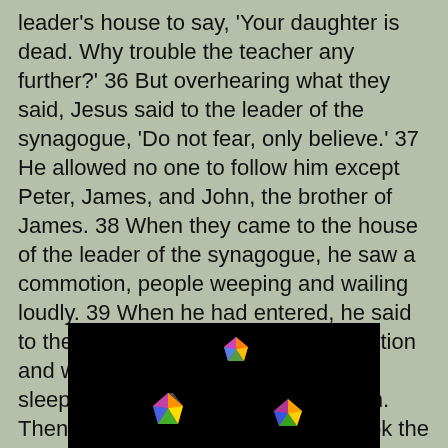leader's house to say, 'Your daughter is dead. Why trouble the teacher any further?' 36 But overhearing what they said, Jesus said to the leader of the synagogue, 'Do not fear, only believe.' 37 He allowed no one to follow him except Peter, James, and John, the brother of James. 38 When they came to the house of the leader of the synagogue, he saw a commotion, people weeping and wailing loudly. 39 When he had entered, he said to them, 'Why do you make a commotion and weep? The child is not dead but sleeping.' 40 And they laughed at him. Then he put them all outside, and took the child's father and mother and those who were with him, and went in where the child was. 41 He took her by the hand and said to her, 'Talitha cum', which means, 'Little girl, get up!' 42 And immediately the girl got up and began to walk about (she was twelve years of age). At this they were overcome with amazement. 43 He strictly ordered them that no one should know this, and told them to give her something to eat.
[Figure (photo): Dark black background with colorful geometric jewel-like 3D objects scattered on it, appearing as small multicolored polygonal shapes in red, green, blue, orange, and yellow.]